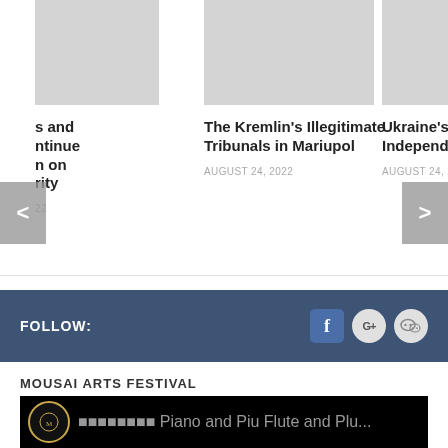[Figure (screenshot): Three article cards in a carousel layout with image placeholders at top. Left card (partially visible): title text ending in 's and ntinue n on rity', date '22'. Center card: 'The Kremlin's Illegitimate Tribunals in Mariupol', date 'AUGUST 24, 2022'. Right card (partially visible): 'Ukraine's Independen...', date 'AUGUST 24, 2...'. Navigation arrows on left and right sides.]
FOLLOW:
[Figure (logo): Social media icons: Facebook (f), Google+ (G+), WeChat]
MOUSAI ARTS FESTIVAL
[Figure (screenshot): Black banner image with Mousai logo circle and partial text 'Piano and...Plu...']